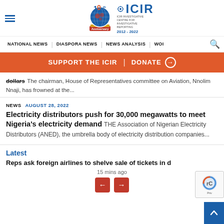[Figure (logo): ICIR 10th Anniversary logo with globe and ICIR text, 2012-2022]
NATIONAL NEWS | DIASPORA NEWS | NEWS ANALYSIS | WOI
SUPPORT THE ICIR | DONATE →
dollars The chairman, House of Representatives committee on Aviation, Nnolim Nnaji, has frowned at the...
NEWS AUGUST 28, 2022
Electricity distributors push for 30,000 megawatts to meet Nigeria's electricity demand
THE Association of Nigerian Electricity Distributors (ANED), the umbrella body of electricity distribution companies...
Latest
Reps ask foreign airlines to shelve sale of tickets in d
15 mins ago